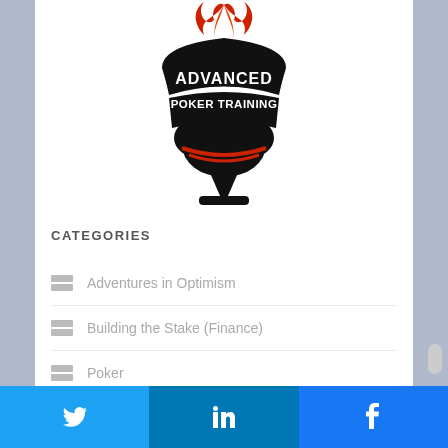[Figure (logo): Advanced Poker Training logo — black spade shape with red flame on top and white text reading ADVANCED POKER TRAINING on a banner]
CATEGORIES
Adventures in Optimism
Building the Stake (Finance)
Poker
Poker Room Reviews
Twitter | LinkedIn | Facebook social share buttons